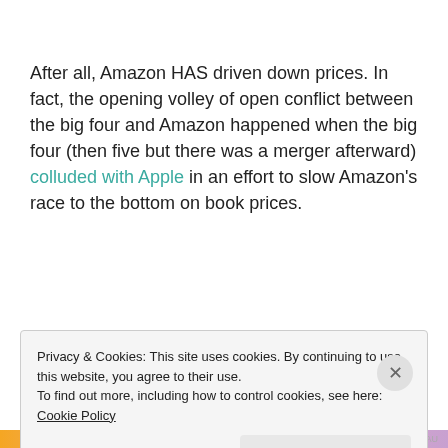After all, Amazon HAS driven down prices. In fact, the opening volley of open conflict between the big four and Amazon happened when the big four (then five but there was a merger afterward) colluded with Apple in an effort to slow Amazon's race to the bottom on book prices.
So... [partial text cut off at bottom]
Privacy & Cookies: This site uses cookies. By continuing to use this website, you agree to their use.
To find out more, including how to control cookies, see here: Cookie Policy

Close and accept